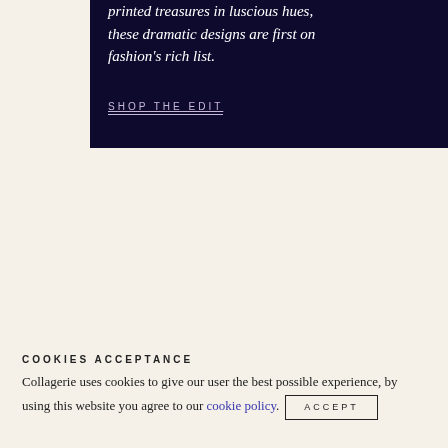printed treasures in luscious hues, these dramatic designs are first on fashion's rich list.
SHOP THE EDIT
[Figure (photo): Light blue background section with a yellow rectangle overlay and a photo of a smiling person wearing a yellow top, plus a photo of decorative plates on the left]
COOKIES ACCEPTANCE
Collagerie uses cookies to give our user the best possible experience, by using this website you agree to our cookie policy.
ACCEPT